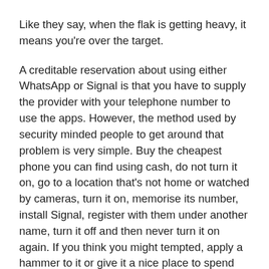Like they say, when the flak is getting heavy, it means you're over the target.
A creditable reservation about using either WhatsApp or Signal is that you have to supply the provider with your telephone number to use the apps. However, the method used by security minded people to get around that problem is very simple. Buy the cheapest phone you can find using cash, do not turn it on, go to a location that's not home or watched by cameras, turn it on, memorise its number, install Signal, register with them under another name, turn it off and then never turn it on again. If you think you might tempted, apply a hammer to it or give it a nice place to spend eternity in, such as a lake bed. Destruction is always safest, even if the phone is supposedly turned off.